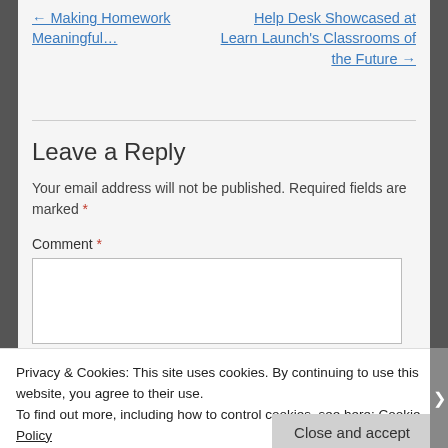← Making Homework Meaningful…
Help Desk Showcased at Learn Launch's Classrooms of the Future →
Leave a Reply
Your email address will not be published. Required fields are marked *
Comment *
Privacy & Cookies: This site uses cookies. By continuing to use this website, you agree to their use.
To find out more, including how to control cookies, see here: Cookie Policy